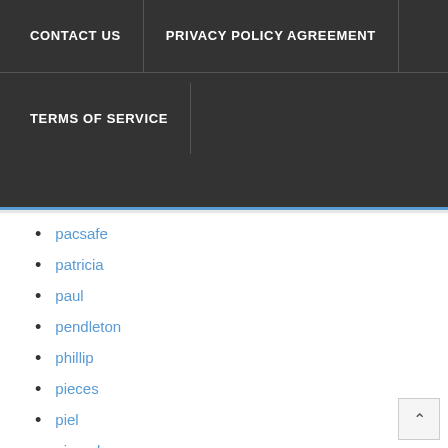CONTACT US | PRIVACY POLICY AGREEMENT | TERMS OF SERVICE
pacsafe
patricia
paul
pendleton
phillip
pieces
piel
piquadro
plambag
pochette
polo
porterbello
portfolio
prada